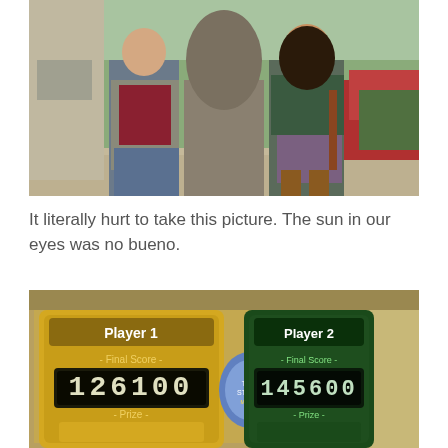[Figure (photo): Two people posing with a bronze statue outdoors, likely at a theme park or attraction. The man on the left wears a blazer and jeans, and the woman on the right wears a floral skirt and boots. Red flowers and trees visible in background.]
It literally hurt to take this picture. The sun in our eyes was no bueno.
[Figure (photo): A game score screen showing Player 1 Final Score: 126100 and Player 2 Final Score: 145600, with Prize fields visible at the bottom. Appears to be a Toy Story Mania game score display at a theme park.]